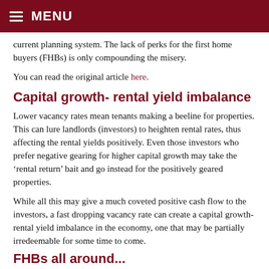MENU
current planning system. The lack of perks for the first home buyers (FHBs) is only compounding the misery.
You can read the original article here.
Capital growth- rental yield imbalance
Lower vacancy rates mean tenants making a beeline for properties. This can lure landlords (investors) to heighten rental rates, thus affecting the rental yields positively. Even those investors who prefer negative gearing for higher capital growth may take the ‘rental return’ bait and go instead for the positively geared properties.
While all this may give a much coveted positive cash flow to the investors, a fast dropping vacancy rate can create a capital growth- rental yield imbalance in the economy, one that may be partially irredeemable for some time to come.
FHBs all around...